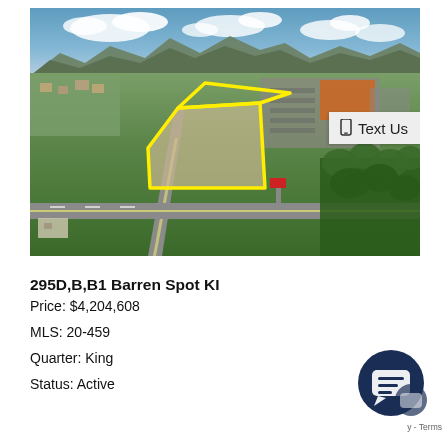[Figure (photo): Aerial photograph of a commercial land parcel at 295D,B,B1 Barren Spot KI. The property boundary is outlined in yellow on an overhead drone shot showing a large vacant lot adjacent to a major road intersection with a retail store (Home Depot) visible in the background. Mountainous terrain and green landscape visible in the distance.]
295D,B,B1 Barren Spot KI
Price: $4,204,608
MLS: 20-459
Quarter: King
Status: Active